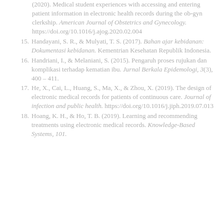(2020). Medical student experiences with accessing and entering patient information in electronic health records during the ob-gyn clerkship. American Journal of Obstetrics and Gynecology. https://doi.org/10.1016/j.ajog.2020.02.004
15. Handayani, S. R., & Mulyati, T. S. (2017). Bahan ajar kebidanan: Dokumentasi kebidanan. Kementrian Kesehatan Republik Indonesia.
16. Handriani, I., & Melaniani, S. (2015). Pengaruh proses rujukan dan komplikasi terhadap kematian ibu. Jurnal Berkala Epidemologi, 3(3), 400 – 411.
17. He, X., Cai, L., Huang, S., Ma, X., & Zhou, X. (2019). The design of electronic medical records for patients of continuous care. Journal of infection and public health. https://doi.org/10.1016/j.jiph.2019.07.013
18. Hoang, K. H., & Ho, T. B. (2019). Learning and recommending treatments using electronic medical records. Knowledge-Based Systems, 101.